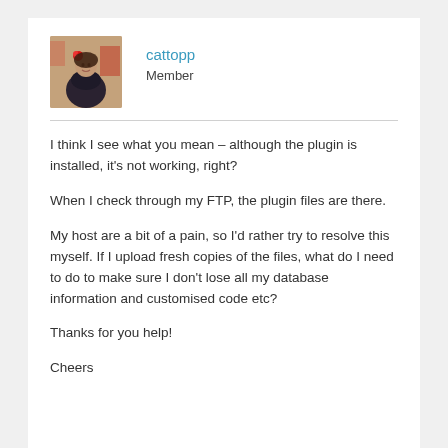[Figure (photo): Avatar photo of forum user cattopp — a woman with a red flower in her hair, seated, with festive decorations in background]
cattopp
Member
I think I see what you mean – although the plugin is installed, it's not working, right?
When I check through my FTP, the plugin files are there.
My host are a bit of a pain, so I'd rather try to resolve this myself. If I upload fresh copies of the files, what do I need to do to make sure I don't lose all my database information and customised code etc?
Thanks for you help!
Cheers